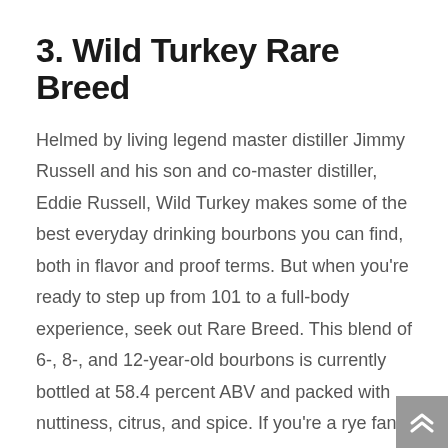3. Wild Turkey Rare Breed
Helmed by living legend master distiller Jimmy Russell and his son and co-master distiller, Eddie Russell, Wild Turkey makes some of the best everyday drinking bourbons you can find, both in flavor and proof terms. But when you're ready to step up from 101 to a full-body experience, seek out Rare Breed. This blend of 6-, 8-, and 12-year-old bourbons is currently bottled at 58.4 percent ABV and packed with nuttiness, citrus, and spice. If you're a rye fan, the recently released Rare Breed Rye offers equal levels of flavor and texture.
[$45; wildturkeybourbon.com]